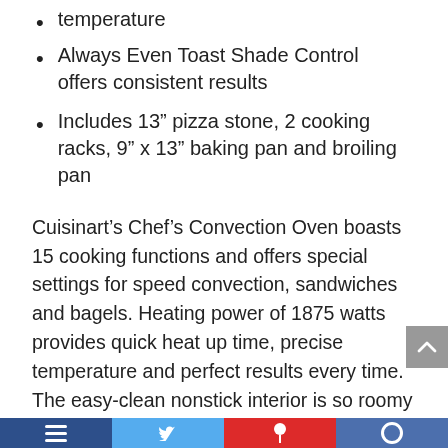temperature
Always Even Toast Shade Control offers consistent results
Includes 13” pizza stone, 2 cooking racks, 9” x 13” baking pan and broiling pan
Cuisinart’s Chef’s Convection Oven boasts 15 cooking functions and offers special settings for speed convection, sandwiches and bagels. Heating power of 1875 watts provides quick heat up time, precise temperature and perfect results every time. The easy-clean nonstick interior is so roomy it can hold a 13-inch pizza, 9 slices of bread, a 9” x 13” baking pan or an entire 9-pound chicken. Easiest way to make a real home-cooked meal every day.